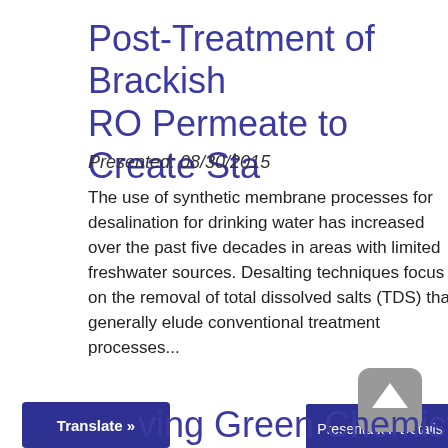Post-Treatment of Brackish RO Permeate to Create Sta
Presented: 08/30/2015
The use of synthetic membrane processes for desalination for drinking water has increased over the past five decades in areas with limited freshwater sources. Desalting techniques focus on the removal of total dissolved salts (TDS) that generally elude conventional treatment processes...
Presentation Details
Translate »
ving Green Chemistry t